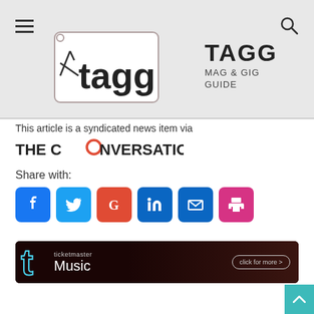[Figure (logo): TAGG Mag & Gig Guide logo with tag icon on grey header background]
This article is a syndicated news item via
[Figure (logo): The Conversation logo in bold black text with red circle O]
Share with:
[Figure (infographic): Social share buttons: Facebook, Twitter, Google, LinkedIn, Email, Print]
[Figure (infographic): Ticketmaster Music advertisement banner with click for more button]